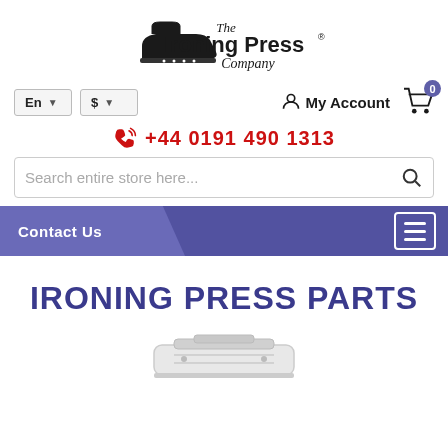[Figure (logo): The Ironing Press Company logo with iron silhouette icon]
En  ▼     $  ▼
My Account   🛒 0
+44 0191 490 1313
Search entire store here...
Contact Us
IRONING PRESS PARTS
[Figure (photo): Partial image of an ironing press product at bottom of page]